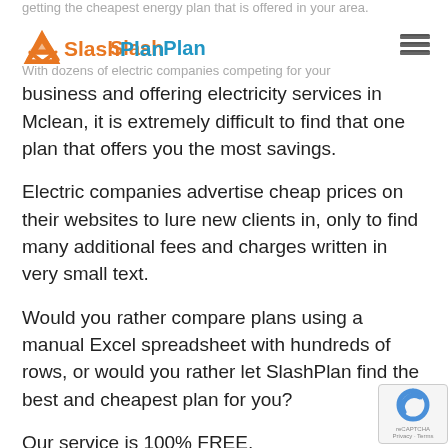getting the cheapest energy plan that is offered in your area.
[Figure (logo): SlashPlan logo with orange arrow icon and two-tone text: orange 'Slash' and blue 'Plan']
With dozens of electric companies competing for your business and offering electricity services in Mclean, it is extremely difficult to find that one plan that offers you the most savings.
Electric companies advertise cheap prices on their websites to lure new clients in, only to find many additional fees and charges written in very small text.
Would you rather compare plans using a manual Excel spreadsheet with hundreds of rows, or would you rather let SlashPlan find the best and cheapest plan for you?
Our service is 100% FREE.
You may ask, how do we make sure we’re finding the best